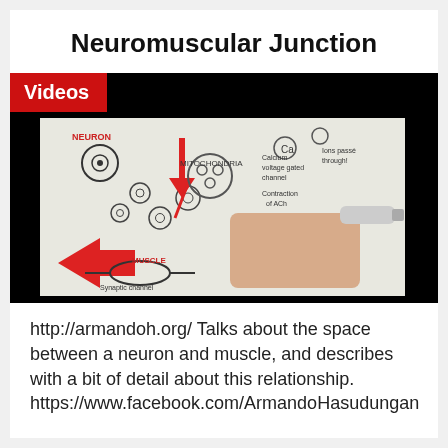Neuromuscular Junction
[Figure (screenshot): Video thumbnail showing a hand drawing a diagram of a neuromuscular junction on white paper, with handwritten labels including NEURON, MITOCHONDRIA, MUSCLE, calcium, synaptic channel, and red arrows indicating signal flow.]
http://armandoh.org/ Talks about the space between a neuron and muscle, and describes with a bit of detail about this relationship. https://www.facebook.com/ArmandoHasudungan